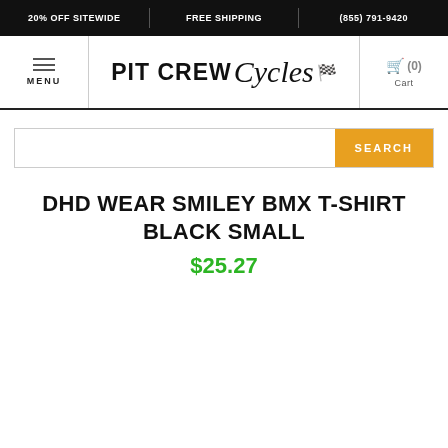20% OFF SITEWIDE | FREE SHIPPING | (855) 791-9420
[Figure (logo): Pit Crew Cycles logo with bold sans-serif PIT CREW and script Cycles text with checkered flag]
DHD WEAR SMILEY BMX T-SHIRT BLACK SMALL
$25.27